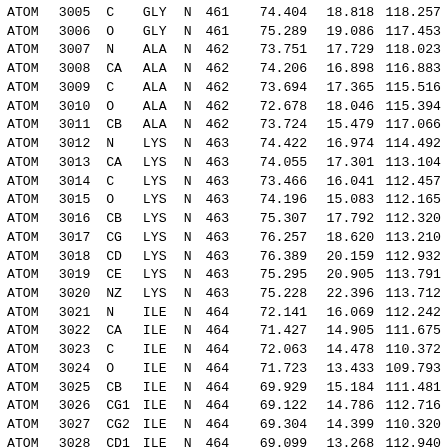| type | serial | name | res | chain | resseq | x | y | z |
| --- | --- | --- | --- | --- | --- | --- | --- | --- |
| ATOM | 3005 | C | GLY | N | 461 | 74.404 | 18.818 | 118.257 |
| ATOM | 3006 | O | GLY | N | 461 | 75.289 | 19.086 | 117.453 |
| ATOM | 3007 | N | ALA | N | 462 | 73.751 | 17.729 | 118.023 |
| ATOM | 3008 | CA | ALA | N | 462 | 74.206 | 16.898 | 116.883 |
| ATOM | 3009 | C | ALA | N | 462 | 73.694 | 17.365 | 115.516 |
| ATOM | 3010 | O | ALA | N | 462 | 72.678 | 18.046 | 115.394 |
| ATOM | 3011 | CB | ALA | N | 462 | 73.724 | 15.479 | 117.066 |
| ATOM | 3012 | N | LYS | N | 463 | 74.422 | 16.974 | 114.492 |
| ATOM | 3013 | CA | LYS | N | 463 | 74.055 | 17.301 | 113.104 |
| ATOM | 3014 | C | LYS | N | 463 | 73.466 | 16.041 | 112.457 |
| ATOM | 3015 | O | LYS | N | 463 | 74.196 | 15.083 | 112.165 |
| ATOM | 3016 | CB | LYS | N | 463 | 75.307 | 17.792 | 112.320 |
| ATOM | 3017 | CG | LYS | N | 463 | 76.257 | 18.620 | 113.210 |
| ATOM | 3018 | CD | LYS | N | 463 | 76.389 | 20.159 | 112.932 |
| ATOM | 3019 | CE | LYS | N | 463 | 75.295 | 20.905 | 113.791 |
| ATOM | 3020 | NZ | LYS | N | 463 | 75.228 | 22.396 | 113.712 |
| ATOM | 3021 | N | ILE | N | 464 | 72.141 | 16.069 | 112.242 |
| ATOM | 3022 | CA | ILE | N | 464 | 71.427 | 14.905 | 111.675 |
| ATOM | 3023 | C | ILE | N | 464 | 72.063 | 14.478 | 110.372 |
| ATOM | 3024 | O | ILE | N | 464 | 71.723 | 13.433 | 109.793 |
| ATOM | 3025 | CB | ILE | N | 464 | 69.929 | 15.184 | 111.481 |
| ATOM | 3026 | CG1 | ILE | N | 464 | 69.122 | 14.786 | 112.716 |
| ATOM | 3027 | CG2 | ILE | N | 464 | 69.304 | 14.399 | 110.320 |
| ATOM | 3028 | CD1 | ILE | N | 464 | 69.099 | 13.268 | 112.940 |
| ATOM | 3029 | N | GLU | N | 465 | 73.003 | 15.246 | 109.901 |
| ATOM | 3030 | CA | GLU | N | 465 | 73.605 | 14.879 | 108.649 |
| ATOM | 3031 | C | GLU | N | 465 | 74.835 | 14.034 | 108.825 |
| ATOM | 3032 | O | GLU | N | 465 | 75.426 | 13.534 | 107.861 |
| ATOM | 3033 | CB | GLU | N | 465 | 73.890 | 16.097 | 107.820 |
| ATOM | 3034 | CG | GLU | N | 465 | 72.620 | 16.461 | 107.047 |